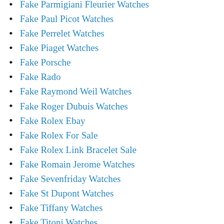Fake Parmigiani Fleurier Watches
Fake Paul Picot Watches
Fake Perrelet Watches
Fake Piaget Watches
Fake Porsche
Fake Rado
Fake Raymond Weil Watches
Fake Roger Dubuis Watches
Fake Rolex Ebay
Fake Rolex For Sale
Fake Rolex Link Bracelet Sale
Fake Romain Jerome Watches
Fake Sevenfriday Watches
Fake St Dupont Watches
Fake Tiffany Watches
Fake Titoni Watches
Fake Tom Ford Watches